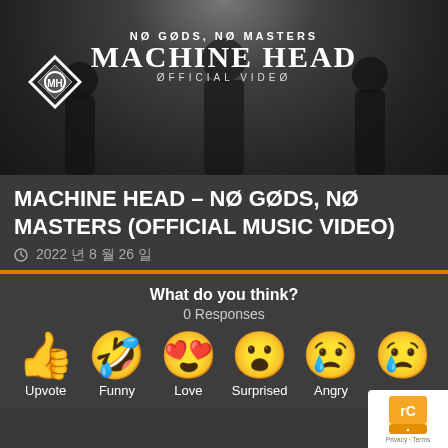[Figure (screenshot): Video thumbnail for Machine Head – Nø Gøds, Nø Masters official music video, showing dark silhouetted figures with band name and diamond logo overlay]
MACHINE HEAD – NØ GØDS, NØ MASTERS (OFFICIAL MUSIC VIDEO)
2022 년 8 월 26 일
What do you think?
0 Responses
Upvote
Funny
Love
Surprised
Angry